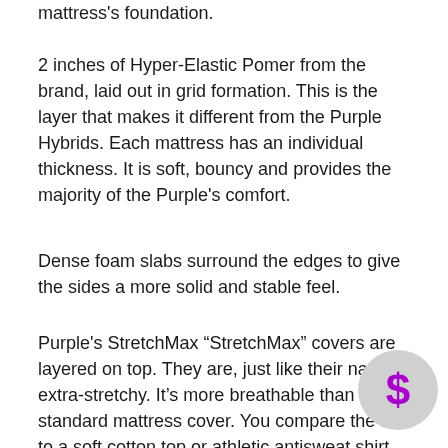mattress's foundation.
2 inches of Hyper-Elastic Pomer from the brand, laid out in grid formation. This is the layer that makes it different from the Purple Hybrids. Each mattress has an individual thickness. It is soft, bouncy and provides the majority of the Purple's comfort.
Dense foam slabs surround the edges to give the sides a more solid and stable feel.
Purple's StretchMax “StretchMax” covers are layered on top. They are, just like their name, extra-stretchy. It’s more breathable than any standard mattress cover. You compare the feel to a soft cotton top or athletic antisweat shirt.